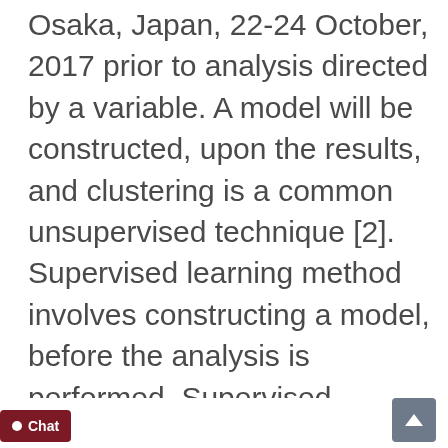Osaka, Japan, 22-24 October, 2017 prior to analysis directed by a variable. A model will be constructed, upon the results, and clustering is a common unsupervised technique [2]. Supervised learning method involves constructing a model, before the analysis is performed. Supervised learning methods such as Statistical Regression, Classification, and Association rules are used in both clinical and medical platforms [3]. This paper aims to